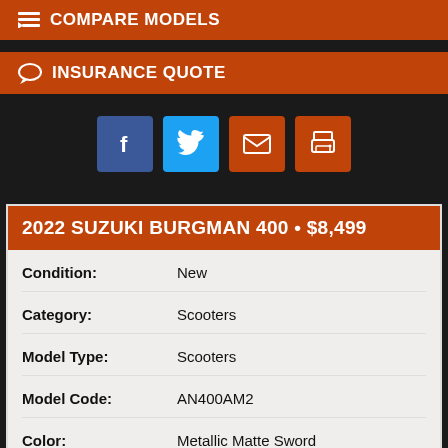COMPARE MODELS
INSURANCE QUOTE
[Figure (other): Social sharing icons: Facebook, Twitter, Email, Print]
2022 SUZUKI BURGMAN 400 • $8,499
| Field | Value |
| --- | --- |
| Condition: | New |
| Category: | Scooters |
| Model Type: | Scooters |
| Model Code: | AN400AM2 |
| Color: | Metallic Matte Sword |